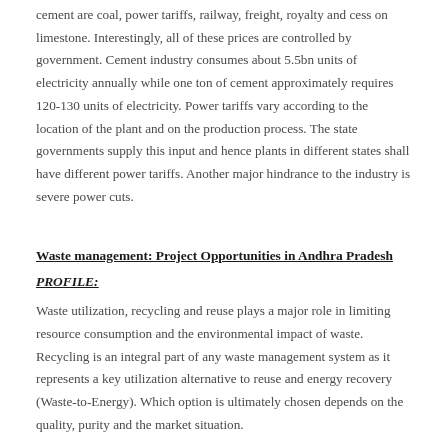cement are coal, power tariffs, railway, freight, royalty and cess on limestone. Interestingly, all of these prices are controlled by government. Cement industry consumes about 5.5bn units of electricity annually while one ton of cement approximately requires 120-130 units of electricity. Power tariffs vary according to the location of the plant and on the production process. The state governments supply this input and hence plants in different states shall have different power tariffs. Another major hindrance to the industry is severe power cuts.
Waste management: Project Opportunities in Andhra Pradesh
PROFILE:
Waste utilization, recycling and reuse plays a major role in limiting resource consumption and the environmental impact of waste. Recycling is an integral part of any waste management system as it represents a key utilization alternative to reuse and energy recovery (Waste-to-Energy). Which option is ultimately chosen depends on the quality, purity and the market situation.